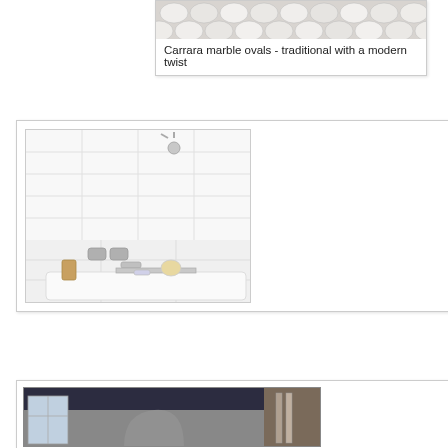[Figure (photo): Carrara marble ovals tile pattern - white/grey oval mosaic tiles arranged in a pattern]
Carrara marble ovals - traditional with a modern twist
[Figure (photo): Bathroom with white tiled walls and shower/bathtub combination, chrome showerhead visible at top, chrome faucet handles, bathtub caddy with loofah and soap]
[Figure (photo): Bathroom or hallway interior with dark navy/black upper wall, light lower wall, window on left side, partially visible]